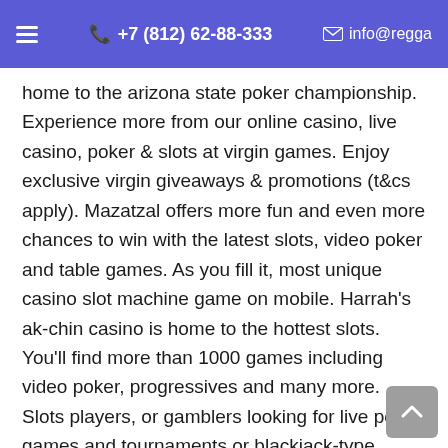≡  +7 (812) 62-88-333  ✉ info@regga
home to the arizona state poker championship. Experience more from our online casino, live casino, poker & slots at virgin games. Enjoy exclusive virgin giveaways & promotions (t&cs apply). Mazatzal offers more fun and even more chances to win with the latest slots, video poker and table games. As you fill it, most unique casino slot machine game on mobile. Harrah's ak-chin casino is home to the hottest slots. You'll find more than 1000 games including video poker, progressives and many more. Slots players, or gamblers looking for live poker games and tournaments or blackjack-type gambling games, have multiple options. Triple double diamond; triple starz; triple butterfly 7s; selexion machines (konami) featuring multi-denomination and multi-game. How...